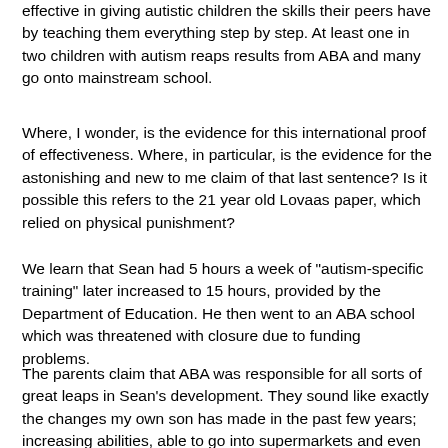effective in giving autistic children the skills their peers have by teaching them everything step by step. At least one in two children with autism reaps results from ABA and many go onto mainstream school.
Where, I wonder, is the evidence for this international proof of effectiveness. Where, in particular, is the evidence for the astonishing and new to me claim of that last sentence? Is it possible this refers to the 21 year old Lovaas paper, which relied on physical punishment?
We learn that Sean had 5 hours a week of "autism-specific training" later increased to 15 hours, provided by the Department of Education. He then went to an ABA school which was threatened with closure due to funding problems.
The parents claim that ABA was responsible for all sorts of great leaps in Sean's development. They sound like exactly the changes my own son has made in the past few years; increasing abilities, able to go into supermarkets and even on holiday which would have been difficult when he was